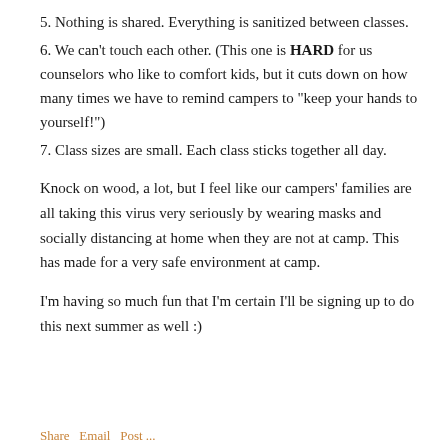5. Nothing is shared. Everything is sanitized between classes.
6. We can't touch each other. (This one is HARD for us counselors who like to comfort kids, but it cuts down on how many times we have to remind campers to "keep your hands to yourself!")
7. Class sizes are small. Each class sticks together all day.
Knock on wood, a lot, but I feel like our campers' families are all taking this virus very seriously by wearing masks and socially distancing at home when they are not at camp. This has made for a very safe environment at camp.
I'm having so much fun that I'm certain I'll be signing up to do this next summer as well :)
Share   Email   Post ...